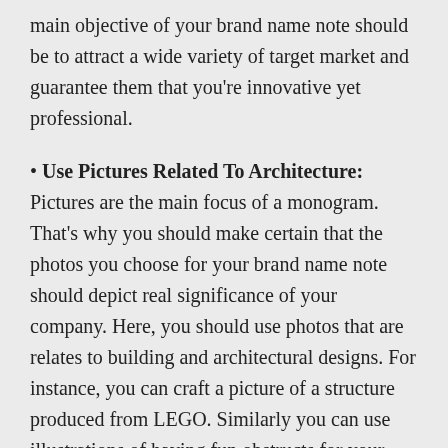main objective of your brand name note should be to attract a wide variety of target market and guarantee them that you're innovative yet professional.
• Use Pictures Related To Architecture: Pictures are the main focus of a monogram. That's why you should make certain that the photos you choose for your brand name note should depict real significance of your company. Here, you should use photos that are relates to building and architectural designs. For instance, you can craft a picture of a structure produced from LEGO. Similarly you can use illustrations of having fun obstructs for your hallmark.